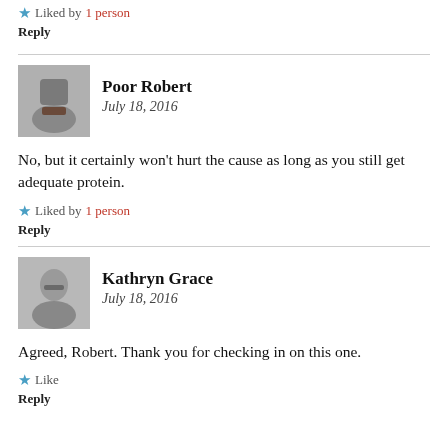★ Liked by 1 person
Reply
[Figure (photo): Avatar photo of Poor Robert, a man in a suit]
Poor Robert
July 18, 2016
No, but it certainly won't hurt the cause as long as you still get adequate protein.
★ Liked by 1 person
Reply
[Figure (photo): Avatar photo of Kathryn Grace, a woman with glasses]
Kathryn Grace
July 18, 2016
Agreed, Robert. Thank you for checking in on this one.
★ Like
Reply